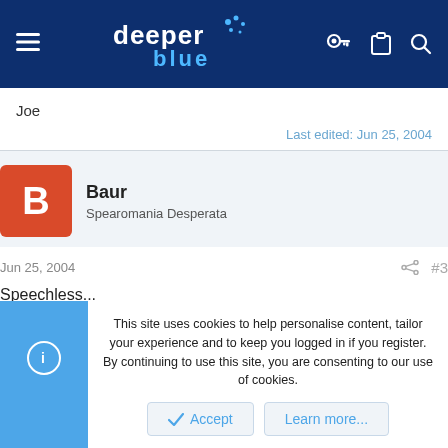[Figure (screenshot): DeeperBlue website navigation bar with logo, hamburger menu, and icons]
Joe
Last edited: Jun 25, 2004
Baur
Spearomania Desperata
Jun 25, 2004
#3
Speechless...
This site uses cookies to help personalise content, tailor your experience and to keep you logged in if you register.
By continuing to use this site, you are consenting to our use of cookies.